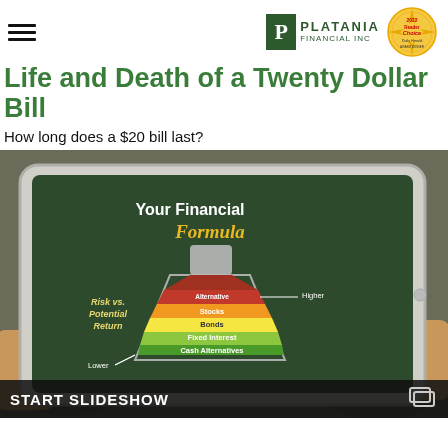Platania Financial Inc
Life and Death of a Twenty Dollar Bill
How long does a $20 bill last?
[Figure (photo): Hands holding a tablet showing 'Your Financial Formula' infographic with a beaker/flask diagram illustrating Risk vs. Potential Return investment layers: Alternative Investments (high, red), Stocks (orange), Bonds (yellow), Fixed Interest (light green), Cash Alternatives (green, lower risk)]
START SLIDESHOW